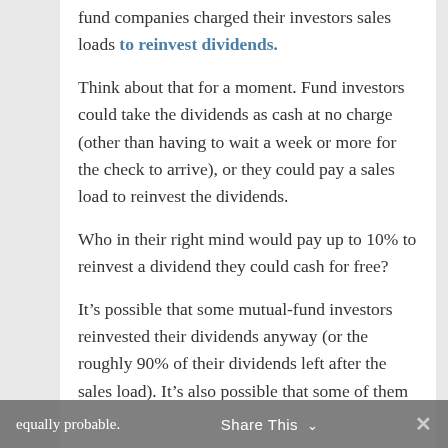fund companies charged their investors sales loads to reinvest dividends.
Think about that for a moment. Fund investors could take the dividends as cash at no charge (other than having to wait a week or more for the check to arrive), or they could pay a sales load to reinvest the dividends.
Who in their right mind would pay up to 10% to reinvest a dividend they could cash for free?
It’s possible that some mutual-fund investors reinvested their dividends anyway (or the roughly 90% of their dividends left after the sales load). It’s also possible that some of them jumped across the Grand Canyon carrying a brick in each hand. Anything is possible. But those two scenarios seem about equally probable.
equally probable.  Share This  ✕